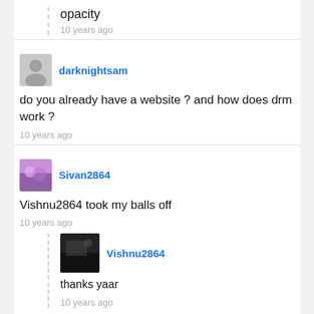opacity
10 years ago
darknightsam
do you already have a website ? and how does drm work ?
10 years ago
Sivan2864
Vishnu2864 took my balls off
10 years ago
Vishnu2864
thanks yaar
10 years ago